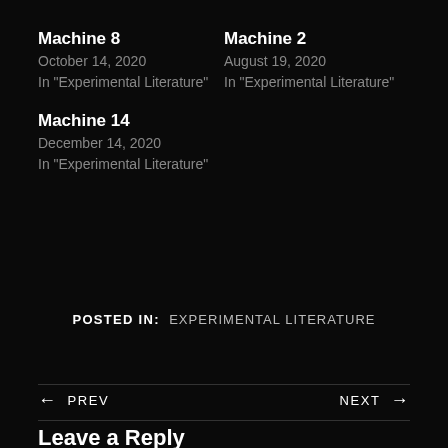Machine 8
October 14, 2020
In "Experimental Literature"
Machine 2
August 19, 2020
In "Experimental Literature"
Machine 14
December 14, 2020
In "Experimental Literature"
POSTED IN: EXPERIMENTAL LITERATURE
← PREV
NEXT →
Leave a Reply